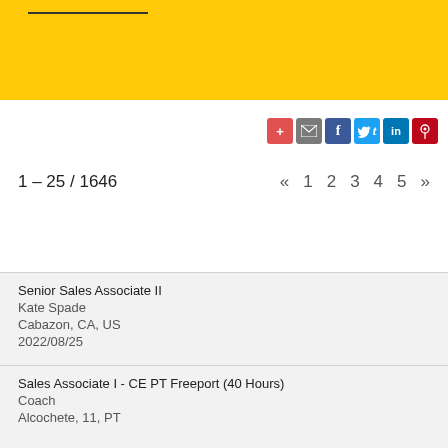1 – 25 / 1646   « 1 2 3 4 5 »
Senior Sales Associate II
Kate Spade
Cabazon, CA, US
2022/08/25
Sales Associate I - CE PT Freeport (40 Hours)
Coach
Alcochete, 11, PT